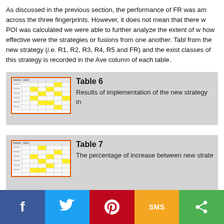As discussed in the previous section, the performance of FR was am across the three fingerprints. However, it does not mean that there w POI was calculated we were able to further analyze the extent of w how effective were the strategies or fusions from one another. Tabl from the new strategy (i.e. R1, R2, R3, R4, R5 and FR) and the exist classes of this strategy is recorded in the Ave column of each table.
[Figure (table-as-image): Thumbnail image of Table 6 showing a data table with yellow highlighted cells]
Table 6
Results of implementation of the new strategy in
[Figure (table-as-image): Thumbnail image of Table 7 showing a data table with yellow highlighted cells]
Table 7
The percentage of increase between new strate